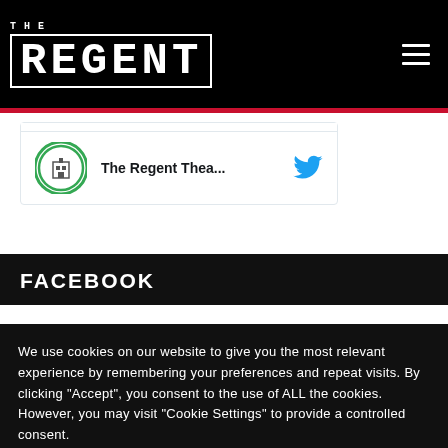THE REGENT
[Figure (screenshot): Twitter widget showing The Regent Theater profile with avatar logo and Twitter bird icon]
FACEBOOK
We use cookies on our website to give you the most relevant experience by remembering your preferences and repeat visits. By clicking "Accept", you consent to the use of ALL the cookies. However, you may visit "Cookie Settings" to provide a controlled consent.
PRIVACY POLICY | Cookie Settings | ACCEPT